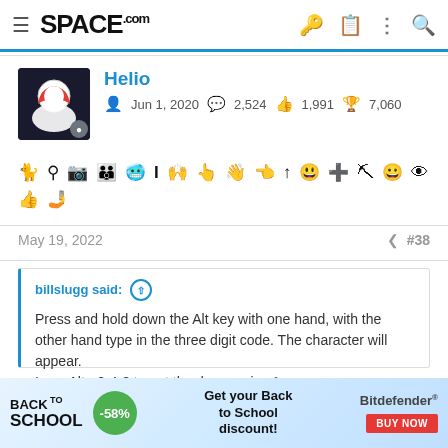SPACE.com
Helio | Jun 1, 2020 | 2,524 | 1,991 | 7,060
May 19, 2022 #38
billslugg said: ↑
Press and hold down the Alt key with one hand, with the other hand type in the three digit code. The character will appear.
I use Alt - 2-4-8 to get the degree sign °.
[Figure (infographic): Back to School advertisement banner: Back To School logo, -58% green circle badge, 'Get your Back to School discount!' text, Bitdefender logo with BUY NOW red button]